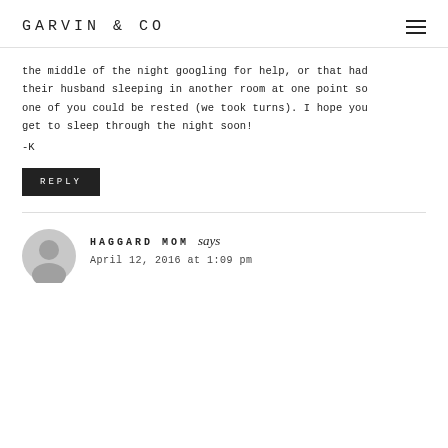GARVIN & CO
the middle of the night googling for help, or that had their husband sleeping in another room at one point so one of you could be rested (we took turns). I hope you get to sleep through the night soon!
-K
REPLY
HAGGARD MOM says
April 12, 2016 at 1:09 pm